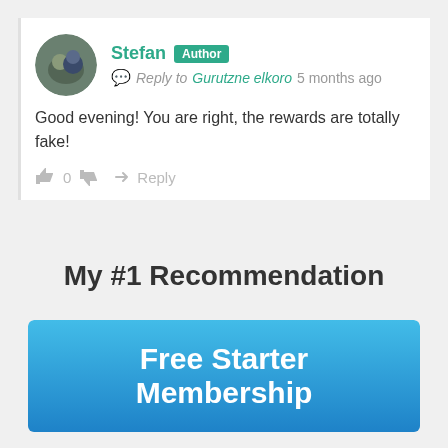Stefan  Author
Reply to Gurutzne elkoro  5 months ago
Good evening! You are right, the rewards are totally fake!
👍 0 👎  → Reply
My #1 Recommendation
[Figure (screenshot): Free Starter Membership banner button with blue gradient background]